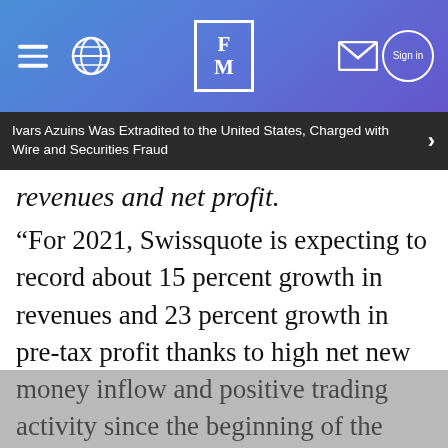FM (Finance Magnates) navigation bar with logo, hamburger menu, globe, mail and sign-in icons
Ivars Azuins Was Extradited to the United States, Charged with Wire and Securities Fraud
revenues and net profit.
“For 2021, Swissquote is expecting to record about 15 percent growth in revenues and 23 percent growth in pre-tax profit thanks to high net new money inflow and positive trading activity since the beginning of the year. Net revenues and pre-tax profit are predicted to come in at CHF 365 million, and CHF 130 million, respectively. Now that the initial medium-term targets for 2022 have been exceeded two years early, Swissquote aims to post further growth records; for